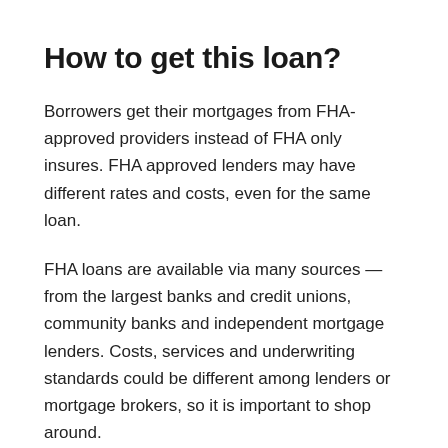How to get this loan?
Borrowers get their mortgages from FHA-approved providers instead of FHA only insures. FHA approved lenders may have different rates and costs, even for the same loan.
FHA loans are available via many sources — from the largest banks and credit unions, community banks and independent mortgage lenders. Costs, services and underwriting standards could be different among lenders or mortgage brokers, so it is important to shop around.